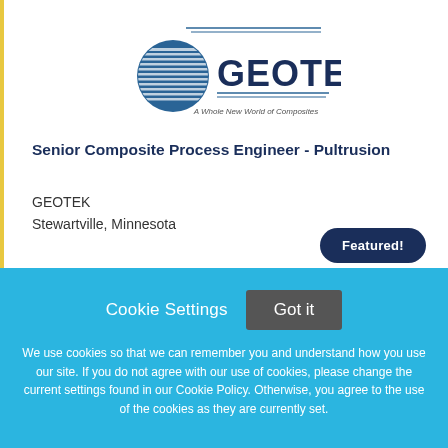[Figure (logo): GEOTEK logo — blue circle with horizontal lines, GEOTEK in bold navy text, tagline 'A Whole New World of Composites']
Senior Composite Process Engineer - Pultrusion
GEOTEK
Stewartville, Minnesota
Featured!
Cookie Settings
Got it
We use cookies so that we can remember you and understand how you use our site. If you do not agree with our use of cookies, please change the current settings found in our Cookie Policy. Otherwise, you agree to the use of the cookies as they are currently set.